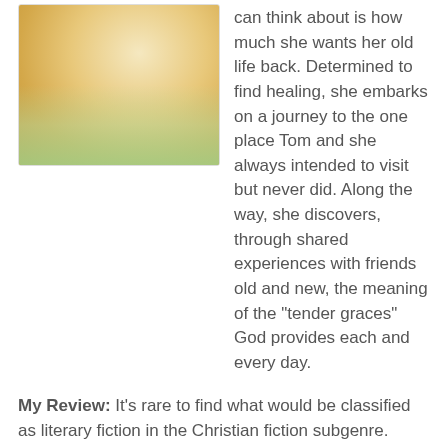[Figure (photo): Photo of a person's hands holding a light green/yellow flower or fabric item, with warm bokeh background.]
can think about is how much she wants her old life back. Determined to find healing, she embarks on a journey to the one place Tom and she always intended to visit but never did. Along the way, she discovers, through shared experiences with friends old and new, the meaning of the "tender graces" God provides each and every day.
My Review: It's rare to find what would be classified as literary fiction in the Christian fiction subgenre. Romantic suspense, historical fiction...those are in abundance. But strong character driven novels that slowly unfold and sweep you away with the beauty of the language? Not so much.
But more and more, Christian fiction is expanding and Tender Grace is a perfect example of that. At the beginning of the story, Audrey is in a desperate place. She lost her husband 15 months ago and has ceased to find purpose and meaning in her days, she feels she is nothing more than a tomb. She describes the sorrow that lives in her with this line